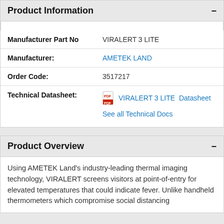Product Information
| Field | Value |
| --- | --- |
| Manufacturer Part No | VIRALERT 3 LITE |
| Manufacturer: | AMETEK LAND |
| Order Code: | 3517217 |
| Technical Datasheet: | VIRALERT 3 LITE  Datasheet
See all Technical Docs |
Product Overview
Using AMETEK Land's industry-leading thermal imaging technology, VIRALERT screens visitors at point-of-entry for elevated temperatures that could indicate fever. Unlike handheld thermometers which compromise social distancing